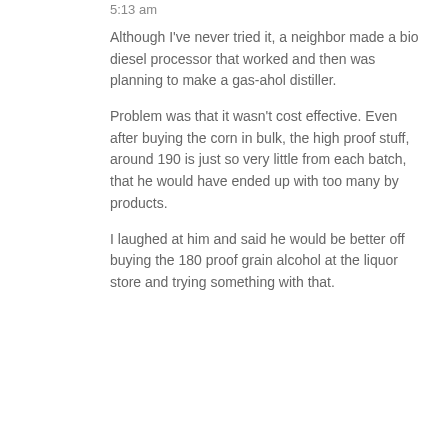5:13 am
Although I've never tried it, a neighbor made a bio diesel processor that worked and then was planning to make a gas-ahol distiller.
Problem was that it wasn't cost effective. Even after buying the corn in bulk, the high proof stuff, around 190 is just so very little from each batch, that he would have ended up with too many by products.
I laughed at him and said he would be better off buying the 180 proof grain alcohol at the liquor store and trying something with that.